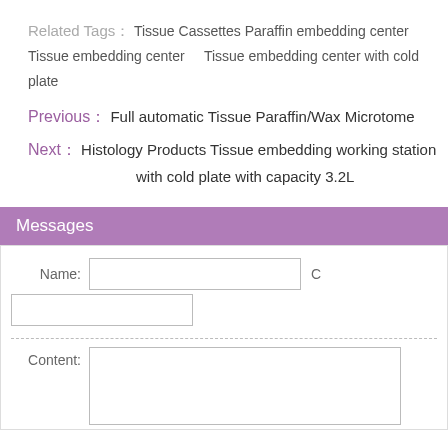Related Tags： Tissue Cassettes Paraffin embedding center    Tissue embedding center    Tissue embedding center with cold plate
Previous： Full automatic Tissue Paraffin/Wax Microtome
Next： Histology Products Tissue embedding working station with cold plate with capacity 3.2L
Messages
Name: [input field] C [input field]
Content: [textarea]